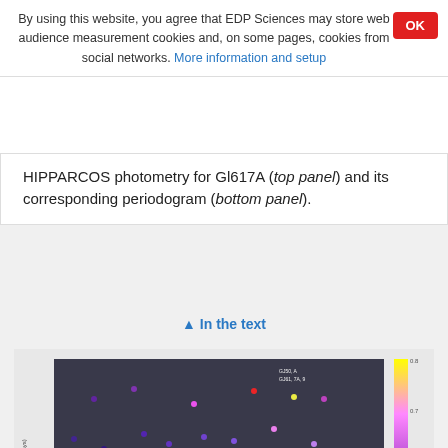By using this website, you agree that EDP Sciences may store web audience measurement cookies and, on some pages, cookies from social networks. More information and setup
HIPPARCOS photometry for Gl617A (top panel) and its corresponding periodogram (bottom panel).
↑ In the text
[Figure (continuous-plot): Scatter plot showing stellar activity or photometric data. Points are colored using a yellow-purple colormap. X-axis and y-axis are logarithmic. A colorbar on the right side is shown. The plot is partially cut off at the bottom of the page.]